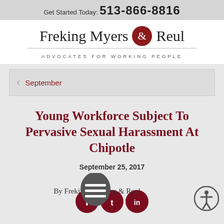Get Started Today: 513-866-8816
[Figure (logo): Freking Myers & Reul law firm logo with red ampersand circle and tagline 'ADVOCATES FOR WORKING PEOPLE']
September
Young Workforce Subject To Pervasive Sexual Harassment At Chipotle
September 25, 2017
By Freking Myers & Reul